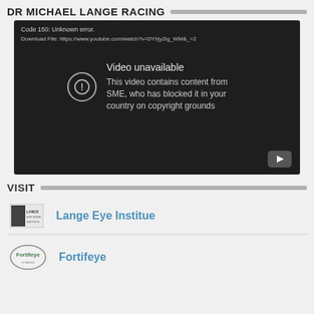DR MICHAEL LANGE RACING
[Figure (screenshot): Embedded YouTube video player showing error: Code 150: Unknown error. Download File: https://www.youtube.com/watch?v=DYbjy2ig_WM&_=2. Video unavailable message: This video contains content from SME, who has blocked it in your country on copyright grounds.]
VISIT
Lange Eye Institue
Fortifeye